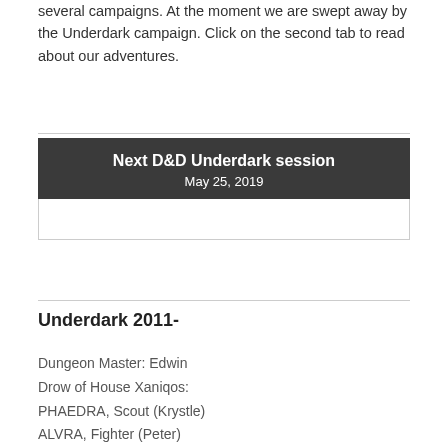several campaigns. At the moment we are swept away by the Underdark campaign. Click on the second tab to read about our adventures.
[Figure (other): Calendar widget showing 'Next D&D Underdark session' on May 25, 2019 with a dark header and white body area]
Underdark 2011-
Dungeon Master: Edwin
Drow of House Xaniqos:
PHAEDRA, Scout (Krystle)
ALVRA, Fighter (Peter)
JHARRATH, Wizard (Thijs)
LILITH, Cleric (Marion)